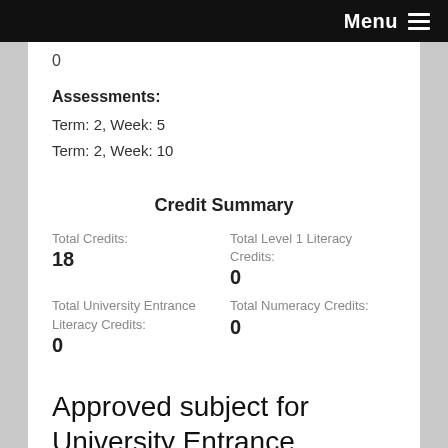Menu
0
Assessments:
Term: 2, Week: 5
Term: 2, Week: 10
Credit Summary
Total Credits:
18
Total Level 1 Literacy Credits:
0
Total University Entrance Literacy Credits:
0
Total Numeracy Credits:
0
Approved subject for University Entrance